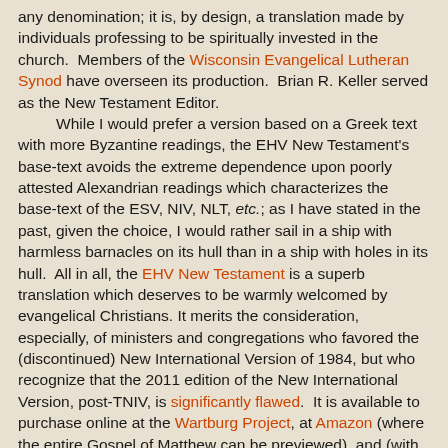any denomination; it is, by design, a translation made by individuals professing to be spiritually invested in the church.  Members of the Wisconsin Evangelical Lutheran Synod have overseen its production.  Brian R. Keller served as the New Testament Editor.

While I would prefer a version based on a Greek text with more Byzantine readings, the EHV New Testament's base-text avoids the extreme dependence upon poorly attested Alexandrian readings which characterizes the base-text of the ESV, NIV, NLT, etc.; as I have stated in the past, given the choice, I would rather sail in a ship with harmless barnacles on its hull than in a ship with holes in its hull.  All in all, the EHV New Testament is a superb translation which deserves to be warmly welcomed by evangelical Christians. It merits the consideration, especially, of ministers and congregations who favored the (discontinued) New International Version of 1984, but who recognize that the 2011 edition of the New International Version, post-TNIV, is significantly flawed.  It is available to purchase online at the Wartburg Project, at Amazon (where the entire Gospel of Matthew can be previewed), and (with bulk discounts) at the website of its publisher, Northwestern Publishing House.